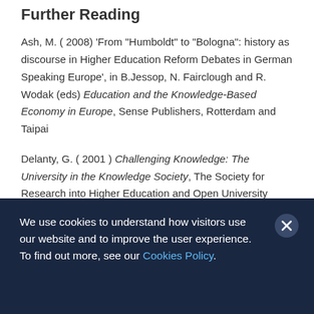Further Reading
Ash, M. ( 2008) ‘From “Humboldt” to “Bologna”: history as discourse in Higher Education Reform Debates in German Speaking Europe’, in B.Jessop, N. Fairclough and R. Wodak (eds) Education and the Knowledge-Based Economy in Europe, Sense Publishers, Rotterdam and Taipai
Delanty, G. ( 2001 ) Challenging Knowledge: The University in the Knowledge Society, The Society for Research into Higher Education and Open University Press, Buckingham and Philadelphia
We use cookies to understand how visitors use our website and to improve the user experience. To find out more, see our Cookies Policy.